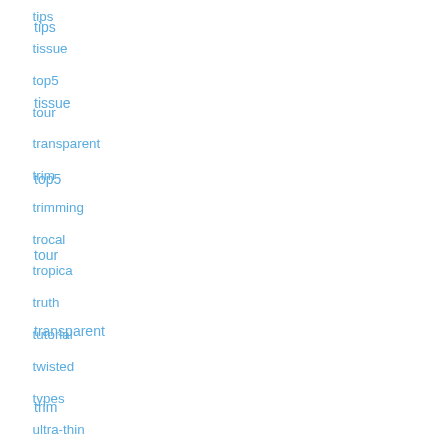tips
tissue
top5
tour
transparent
trim
trimming
trocal
tropica
truth
tutorial
twisted
types
ultra-thin